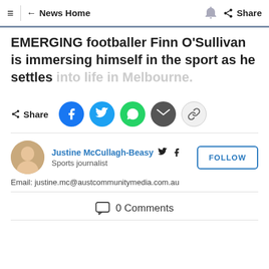≡  ← News Home  🔔  Share
EMERGING footballer Finn O'Sullivan is immersing himself in the sport as he settles into life in Melbourne.
Share (Facebook, Twitter, WhatsApp, Email, Link)
Justine McCullagh-Beasy — Sports journalist
Email: justine.mc@austcommunitymedia.com.au
0 Comments